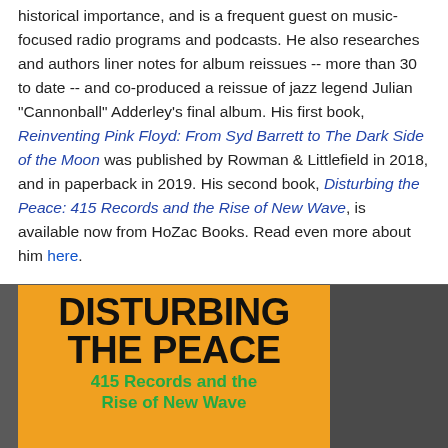historical importance, and is a frequent guest on music-focused radio programs and podcasts. He also researches and authors liner notes for album reissues -- more than 30 to date -- and co-produced a reissue of jazz legend Julian "Cannonball" Adderley's final album. His first book, Reinventing Pink Floyd: From Syd Barrett to The Dark Side of the Moon was published by Rowman & Littlefield in 2018, and in paperback in 2019. His second book, Disturbing the Peace: 415 Records and the Rise of New Wave, is available now from HoZac Books. Read even more about him here.
[Figure (illustration): Book cover for 'Disturbing the Peace: 415 Records and the Rise of New Wave' with orange background, bold black title text 'DISTURBING THE PEACE' and green subtitle '415 Records and the Rise of New Wave']